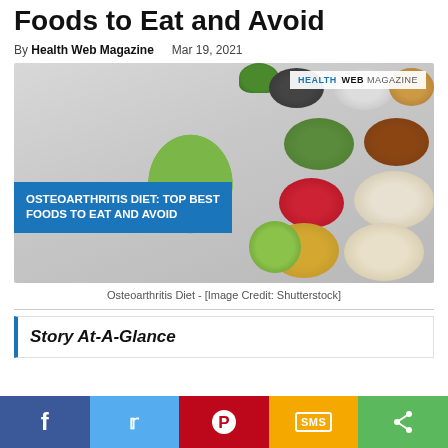Foods to Eat and Avoid
By Health Web Magazine   Mar 19, 2021
[Figure (photo): Hero image showing various foods in bowls (seeds, nuts, grains, vegetables, berries) arranged on a grey surface with an avocado, green apple, and spinach. Blue overlay banner reads: OSTEOARTHRITIS DIET: TOP BEST FOODS TO EAT AND AVOID. Health Web Magazine logo in top right corner.]
Osteoarthritis Diet - [Image Credit: Shutterstock]
Story At-A-Glance
f  [twitter]  [pinterest]  SMS  [share]